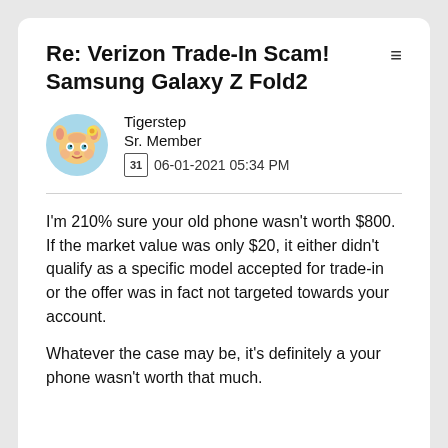Re: Verizon Trade-In Scam! Samsung Galaxy Z Fold2
Tigerstep
Sr. Member
06-01-2021 05:34 PM
I'm 210% sure your old phone wasn't worth $800. If the market value was only $20, it either didn't qualify as a specific model accepted for trade-in or the offer was in fact not targeted towards your account.
Whatever the case may be, it's definitely a your phone wasn't worth that much.